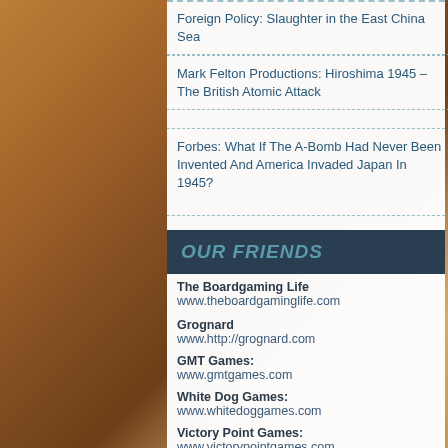Foreign Policy: Slaughter in the East China Sea
Mark Felton Productions: Hiroshima 1945 – The British Atomic Attack
Forbes: What If The A-Bomb Had Never Been Invented And America Invaded Japan In 1945?
OUR FRIENDS
The Boardgaming Life
www.theboardgaminglife.com
Grognard
www.http://grognard.com
GMT Games:
www.gmtgames.com
White Dog Games:
www.whitedoggames.com
Victory Point Games:
www.victorypointgames.com